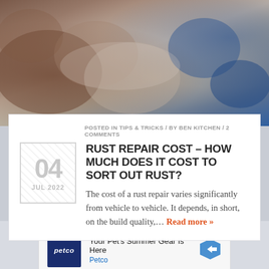[Figure (photo): Close-up photo of rusty metal car parts, showing corroded surfaces in brown/red tones with a blue element in the background.]
POSTED IN TIPS & TRICKS / BY BEN KITCHEN / 2 COMMENTS
RUST REPAIR COST – HOW MUCH DOES IT COST TO SORT OUT RUST?
The cost of a rust repair varies significantly from vehicle to vehicle. It depends, in short, on the build quality,… Read more »
[Figure (infographic): Advertisement for Petco: 'Your Pet's Summer Gear Is Here' with Petco logo and navigation arrow icon.]